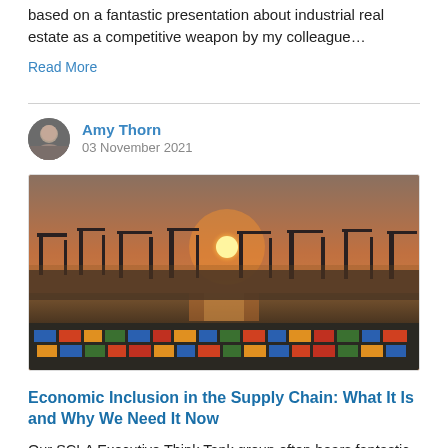based on a fantastic presentation about industrial real estate as a competitive weapon by my colleague…
Read More
Amy Thorn
03 November 2021
[Figure (photo): Aerial view of a busy shipping port at sunset with cranes, shipping containers, and water visible. Orange and golden sky with the sun near the horizon.]
Economic Inclusion in the Supply Chain: What It Is and Why We Need It Now
Our SCLA Executive Think Tank group often hears fantastic presentations from talented teachers and